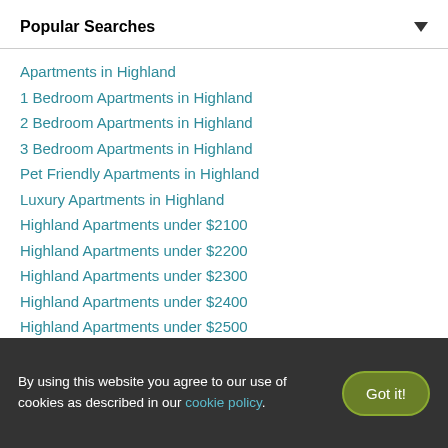Popular Searches
Apartments in Highland
1 Bedroom Apartments in Highland
2 Bedroom Apartments in Highland
3 Bedroom Apartments in Highland
Pet Friendly Apartments in Highland
Luxury Apartments in Highland
Highland Apartments under $2100
Highland Apartments under $2200
Highland Apartments under $2300
Highland Apartments under $2400
Highland Apartments under $2500
Highland Apartments under $2600
By using this website you agree to our use of cookies as described in our cookie policy.